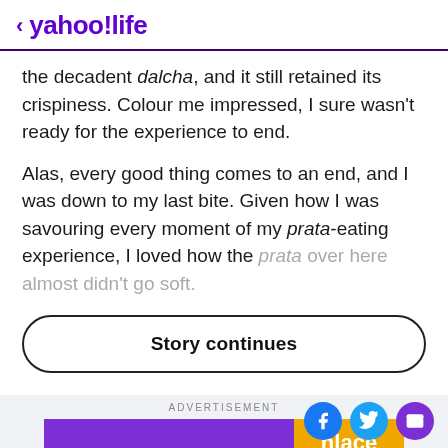< yahoo!life
the decadent dalcha, and it still retained its crispiness. Colour me impressed, I sure wasn't ready for the experience to end.
Alas, every good thing comes to an end, and I was down to my last bite. Given how I was savouring every moment of my prata-eating experience, I loved how the prata over here almost didn't go soft.
Story continues
[Figure (screenshot): Advertisement banner with purple and orange/yellow sections, showing partial text 'place']
ADVERTISEMENT